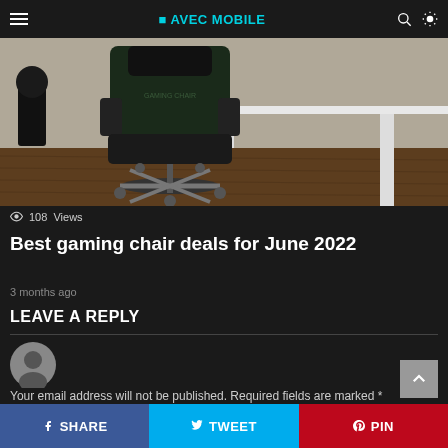☰ AVEC MOBILE 🔍 ☀
[Figure (photo): Gaming chair next to a white desk on a wooden floor]
108 Views
Best gaming chair deals for June 2022
3 months ago
LEAVE A REPLY
[Figure (illustration): Default user avatar circle icon]
Your email address will not be published. Required fields are marked *
SHARE  TWEET  PIN